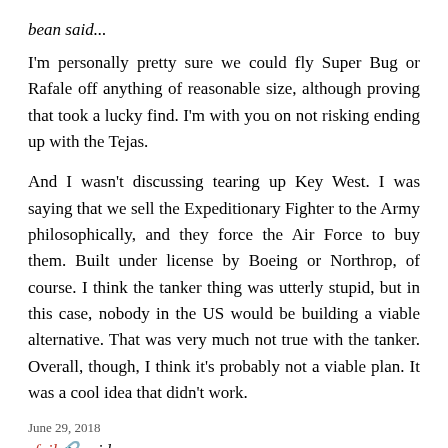bean said...
I'm personally pretty sure we could fly Super Bug or Rafale off anything of reasonable size, although proving that took a lucky find. I'm with you on not risking ending up with the Tejas.
And I wasn't discussing tearing up Key West. I was saying that we sell the Expeditionary Fighter to the Army philosophically, and they force the Air Force to buy them. Built under license by Boeing or Northrop, of course. I think the tanker thing was utterly stupid, but in this case, nobody in the US would be building a viable alternative. That was very much not true with the tanker. Overall, though, I think it's probably not a viable plan. It was a cool idea that didn't work.
June 29, 2018
sfoil said...